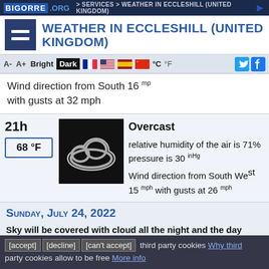BIGORRE .ORG  > Services > Weather in Eccleshill (United Kingdom)
Weather in Eccleshill (United Kingdom)
A- A+ Bright Dark °C °F
Wind direction from South 16 mph with gusts at 32 mph
21h  68 °F  Overcast  relative humidity of the air is 71%  pressure is 30 inHg  Wind direction from South West 15 mph with gusts at 26 mph
Sunday, July 24, 2022
Sky will be covered with cloud all the night and the day
[accept] [decline] [can't accept] third party cookies Why third party cookies allow to be free More info